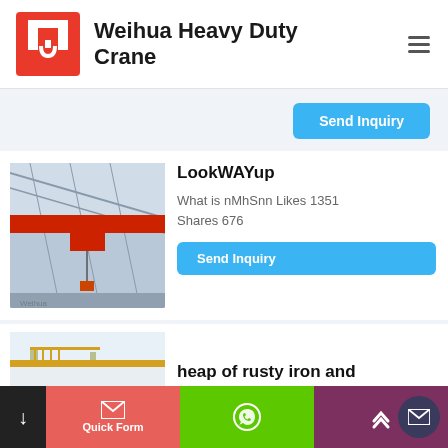[Figure (logo): Weihua Heavy Duty Crane logo - red stylized crane/hook icon in a square frame]
Weihua Heavy Duty Crane
Send Inquiry
[Figure (photo): Overhead crane in industrial warehouse/factory setting - red bridge crane visible from below against steel roof structure]
LookWAYup
What is nMhSnn Likes 1351 Shares 676
Send Inquiry
[Figure (photo): Yellow and white industrial crane or gantry structure outdoors (partially visible)]
heap of rusty iron and
Quick Form